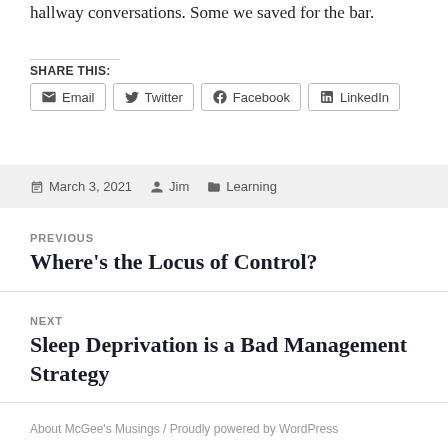hallway conversations. Some we saved for the bar.
SHARE THIS:
Email  Twitter  Facebook  LinkedIn
March 3, 2021  Jim  Learning
PREVIOUS
Where’s the Locus of Control?
NEXT
Sleep Deprivation is a Bad Management Strategy
About McGee’s Musings / Proudly powered by WordPress